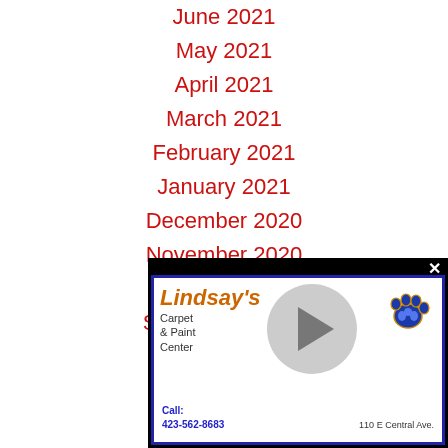June 2021
May 2021
April 2021
March 2021
February 2021
January 2021
December 2020
November 2020
October 2020
September 2020
August 2020
July 2020
Ju[ne 2020]
M[ay 2020]
A[pril 2020]
Ma[rch 2020]
Feb[ruary 2020]
Jan[uary 2020]
[Figure (other): Lindsay's Carpet & Paint Center advertisement overlay with play button, paw logo, phone 423-562-8683, address 110 E Central Ave.]